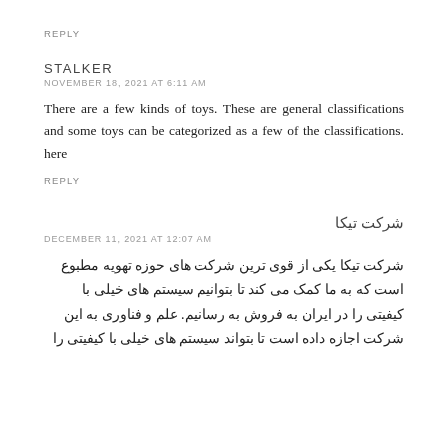REPLY
STALKER
NOVEMBER 18, 2021 AT 6:11 AM
There are a few kinds of toys. These are general classifications and some toys can be categorized as a few of the classifications. here
REPLY
شرکت تیکا
DECEMBER 11, 2021 AT 12:07 AM
شرکت تیکا یکی از قوی ترین شرکت های حوزه تهویه مطبوع است که به ما کمک می کند تا بتوانیم سیستم های خیلی با کیفیتی را در ایران به فروش به رسانیم. علم و فناوری به این شرکت اجازه داده است تا بتواند سیستم های خیلی با کیفیتی را